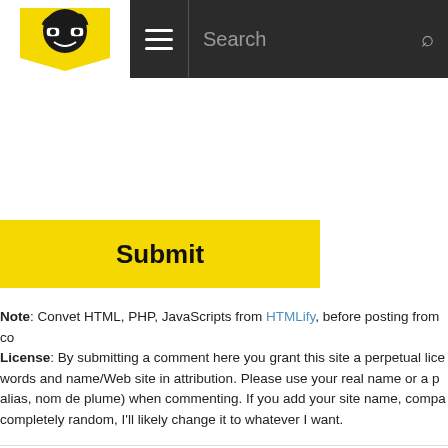Navigation header with logo, hamburger menu, and search bar
[Figure (logo): Cartoon nerd/geek character with glasses in a yellow badge shape - site logo]
Submit
Note: Convet HTML, PHP, JavaScripts from HTMLify, before posting from co
License: By submitting a comment here you grant this site a perpetual lice words and name/Web site in attribution. Please use your real name or a p alias, nom de plume) when commenting. If you add your site name, compa completely random, I'll likely change it to whatever I want.
Pages
Soci
Subscribe
Submit
I hate spam
Advertise
Policies
Services
Contact
Face
Twitt
YouT
GitH